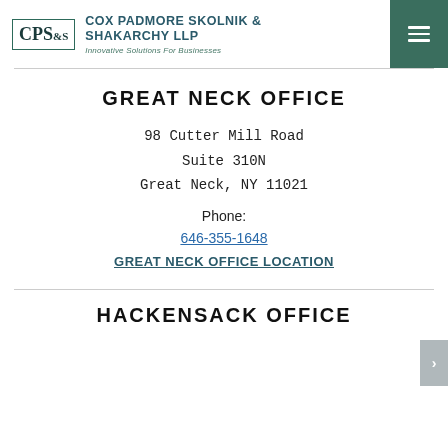CPS&S — Cox Padmore Skolnik & Shakarchy LLP — Innovative Solutions For Businesses
GREAT NECK OFFICE
98 Cutter Mill Road
Suite 310N
Great Neck, NY 11021
Phone:
646-355-1648
GREAT NECK OFFICE LOCATION
HACKENSACK OFFICE